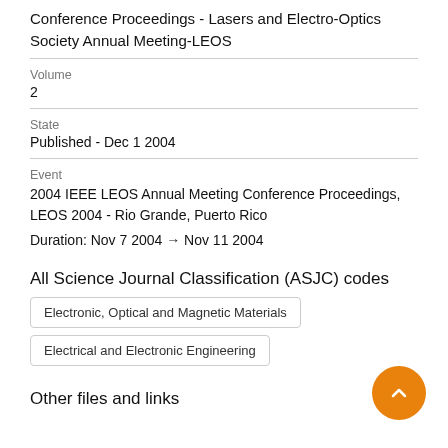Conference Proceedings - Lasers and Electro-Optics Society Annual Meeting-LEOS
Volume
2
State
Published - Dec 1 2004
Event
2004 IEEE LEOS Annual Meeting Conference Proceedings, LEOS 2004 - Rio Grande, Puerto Rico
Duration: Nov 7 2004 → Nov 11 2004
All Science Journal Classification (ASJC) codes
Electronic, Optical and Magnetic Materials
Electrical and Electronic Engineering
Other files and links